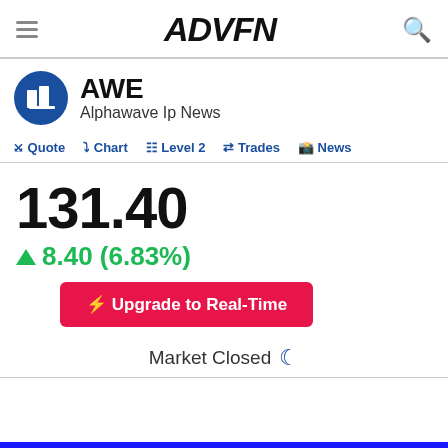ADVFN
AWE
Alphawave Ip News
Quote  Chart  Level 2  Trades  News
131.40
8.40 (6.83%)
⚡ Upgrade to Real-Time
Market Closed 🌙